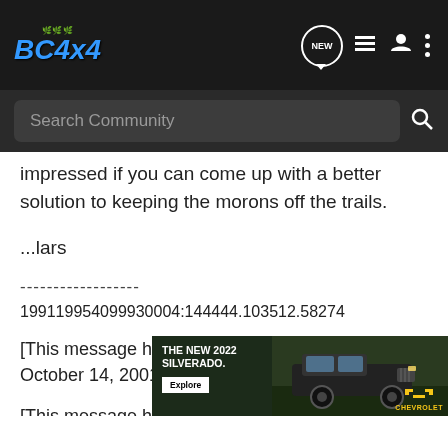BC4x4 — community forum header with navigation icons (NEW, list, user, menu)
Search Community
impressed if you can come up with a better solution to keeping the morons off the trails.
...lars
------------------
199119954099930004:144444.103512.58274
[This message has been edited by lars (edited October 14, 2001).]
[This message has been edited by lars (edited October 14, 2001).]
[Figure (screenshot): Chevrolet advertisement banner: 'THE NEW 2022 SILVERADO.' with Explore button, truck photo, and Chevrolet logo]